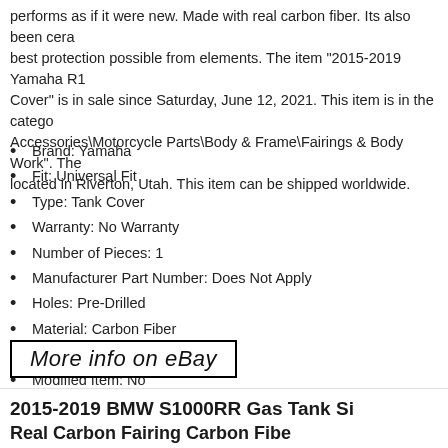performs as if it were new. Made with real carbon fiber. Its also been cera... best protection possible from elements. The item "2015-2019 Yamaha R1 ... Cover" is in sale since Saturday, June 12, 2021. This item is in the catego... Accessories\Motorcycle Parts\Body & Frame\Fairings & Body Work". The... located in Riverton, Utah. This item can be shipped worldwide.
Brand: Yamaha
Fit: Universal Fit
Type: Tank Cover
Warranty: No Warranty
Number of Pieces: 1
Manufacturer Part Number: Does Not Apply
Holes: Pre-Drilled
Material: Carbon Fiber
Surface Finish: Glossy
Modified Item: No
[Figure (other): More info on eBay button image with border]
Read More
Tags: 2015-2019, carbon, cover, fiber, real, tank, yamaha
2015-2019 BMW S1000RR Gas Tank Si...